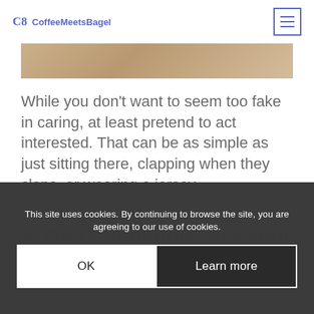CoffeeMeetsBagel
[Figure (photo): Partial photo of a person with blonde hair, cropped at top of page]
While you don’t want to seem too fake in caring, at least pretend to act interested. That can be as simple as just sitting there, clapping when they claps, or wearing a jersey.
3. Don’t Schedule an Event During a Game
This site uses cookies. By continuing to browse the site, you are agreeing to our use of cookies.